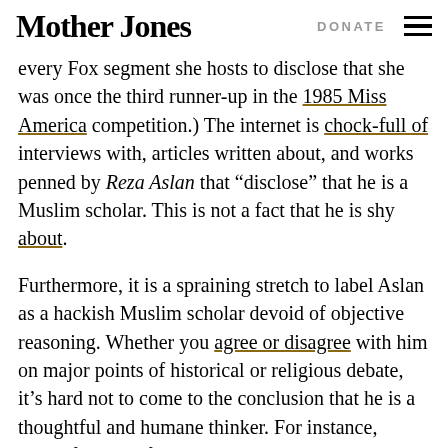Mother Jones   DONATE
every Fox segment she hosts to disclose that she was once the third runner-up in the 1985 Miss America competition.) The internet is chock-full of interviews with, articles written about, and works penned by Reza Aslan that “disclose” that he is a Muslim scholar. This is not a fact that he is shy about.
Furthermore, it is a spraining stretch to label Aslan as a hackish Muslim scholar devoid of objective reasoning. Whether you agree or disagree with him on major points of historical or religious debate, it’s hard not to come to the conclusion that he is a thoughtful and humane thinker. For instance, here’s footage of him debating atheist author and